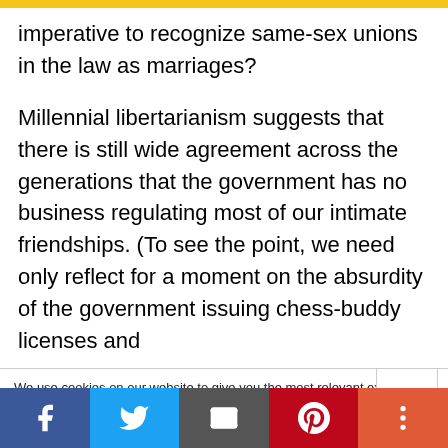imperative to recognize same-sex unions in the law as marriages?
Millennial libertarianism suggests that there is still wide agreement across the generations that the government has no business regulating most of our intimate friendships. (To see the point, we need only reflect for a moment on the absurdity of the government issuing chess-buddy licenses and
We use cookies on our website to give you the most relevant experience by remembering your preferences and repeat visits. By clicking “Accept All”, you consent to the use of ALL the cookies. However, you may visit "Cookie Settings" to provide a controlled consent.
Share bar: Facebook, Twitter, Email, Pinterest, More